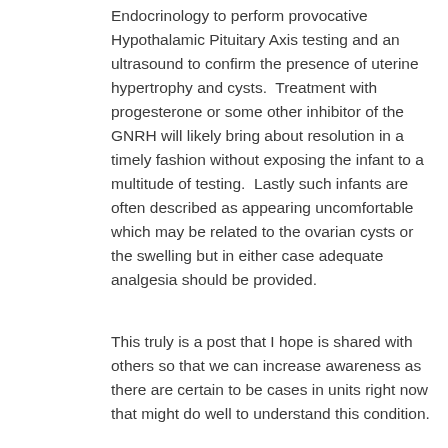Endocrinology to perform provocative Hypothalamic Pituitary Axis testing and an ultrasound to confirm the presence of uterine hypertrophy and cysts.  Treatment with progesterone or some other inhibitor of the GNRH will likely bring about resolution in a timely fashion without exposing the infant to a multitude of testing.  Lastly such infants are often described as appearing uncomfortable which may be related to the ovarian cysts or the swelling but in either case adequate analgesia should be provided.
This truly is a post that I hope is shared with others so that we can increase awareness as there are certain to be cases in units right now that might do well to understand this condition.